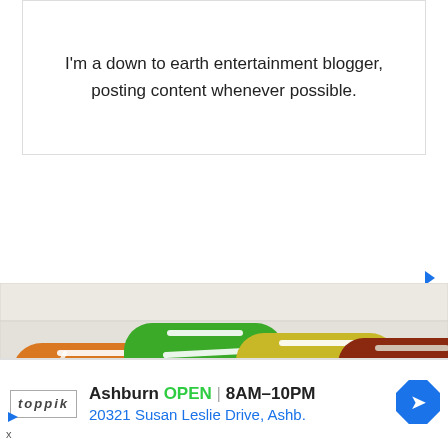I'm a down to earth entertainment blogger, posting content whenever possible.
[Figure (photo): Four colorful canvas sneakers (orange, green, yellow, dark red) with white laces, laid flat on a white wooden surface, viewed from above]
[Figure (infographic): Advertisement banner for Toppik showing Ashburn store info: OPEN 8AM-10PM, 20321 Susan Leslie Drive, Ashb. with navigation icon]